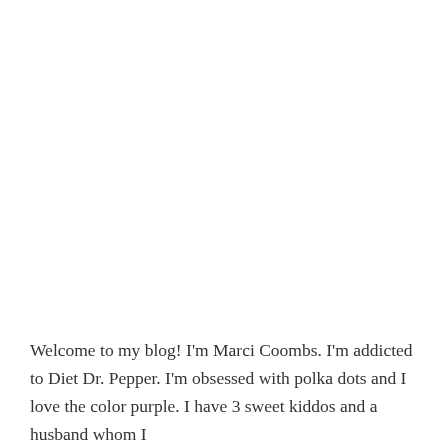Welcome to my blog! I'm Marci Coombs. I'm addicted to Diet Dr. Pepper. I'm obsessed with polka dots and I love the color purple. I have 3 sweet kiddos and a husband whom I